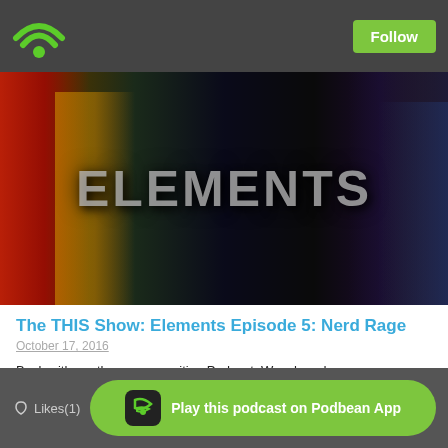[Figure (screenshot): Top navigation bar with green WiFi/signal icon on left and green Follow button on right, on dark gray background]
[Figure (illustration): Podcast banner image with movie/TV characters (Marty McFly, Woody, Wolverine, Jon Snow, Batman, Dorothy) and large text 'ELEMENTS' overlaid]
The THIS Show: Elements Episode 5: Nerd Rage
October 17, 2016
Back with another super exciting Podcast, Woosh and new comers PittBoss and G-Spot decided to yell at each other ..... About what you ask? Well listen to the thing and find out .... lazy jerks.
[Figure (screenshot): PodBean audio player embed widget]
[Figure (screenshot): Bottom bar with Likes(1) on left and green 'Play this podcast on Podbean App' button on right]